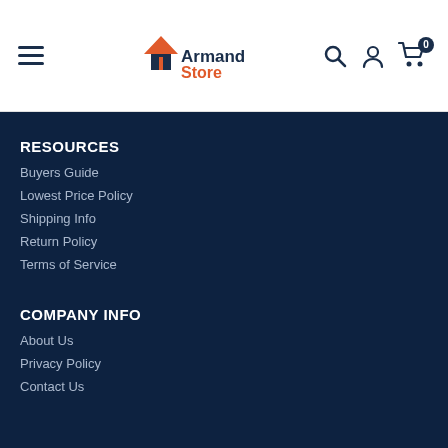Armand Store — navigation header with hamburger menu, logo, search, account, and cart icons
RESOURCES
Buyers Guide
Lowest Price Policy
Shipping Info
Return Policy
Terms of Service
COMPANY INFO
About Us
Privacy Policy
Contact Us